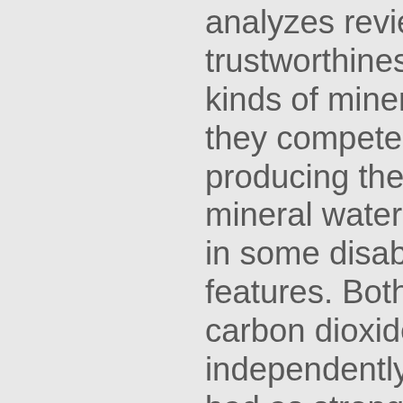analyzes reviews to verify trustworthiness. There are too many kinds of mineral water in this world, they compete one to each other by producing their best products of mineral water. Disabling it will result in some disabled or missing features. Both the water and natural carbon dioxide gas are captured independently. And sure, it's not as bad as strong arming Ethiopia during a famine, but the poor packaging meant a can busted open and the bottom of the box was nearly fallen out upon arrival. It is a French brand of bottled mineral water that is captured from a spring in Vergèze, a commune in the Gard department in southern France. Reviewed in the United States on April 13, 2015, Reviewed in the United States on October 13, 2020, Reviewed in the United States on